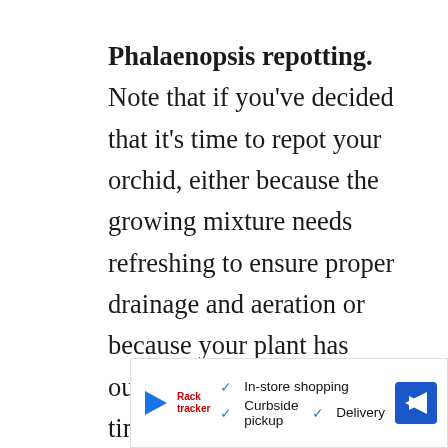Phalaenopsis repotting. Note that if you've decided that it's time to repot your orchid, either because the growing mixture needs refreshing to ensure proper drainage and aeration or because your plant has outgrown its pot, the best time to do it is after the plant has finished blooming and new air roots have begun to emerge. I've written an article covering this topic here.
Trigger Your Phalaenopsis Orchid To Rebloom
[Figure (other): Advertisement banner showing in-store shopping, curbside pickup, and delivery options with a navigation arrow icon and a play button with store logo]